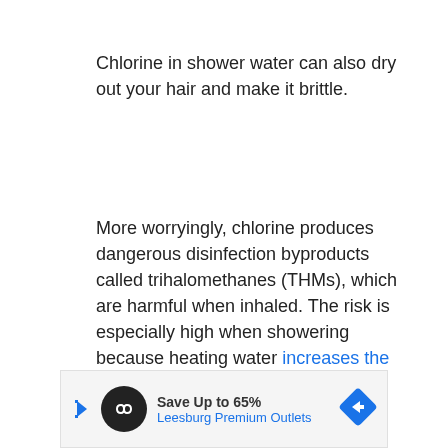Chlorine in shower water can also dry out your hair and make it brittle.
More worryingly, chlorine produces dangerous disinfection byproducts called trihalomethanes (THMs), which are harmful when inhaled. The risk is especially high when showering because heating water increases the production of THMs.
[Figure (other): Advertisement banner for Leesburg Premium Outlets: Save Up to 65%, with a circular logo icon, navigation arrow icon on the left, and a blue diamond road sign icon on the right.]